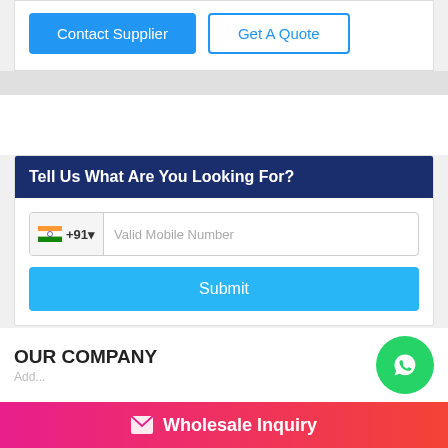[Figure (screenshot): Contact Supplier blue button and Get A Quote outlined blue button in a white card area]
Tell Us What Are You Looking For?
[Figure (screenshot): Phone number input field with India flag +91 country code prefix and Valid Mobile Number placeholder text]
[Figure (screenshot): Submit button in sky blue color]
OUR COMPANY
[Figure (logo): WhatsApp green circle icon button]
Wholesale Inquiry